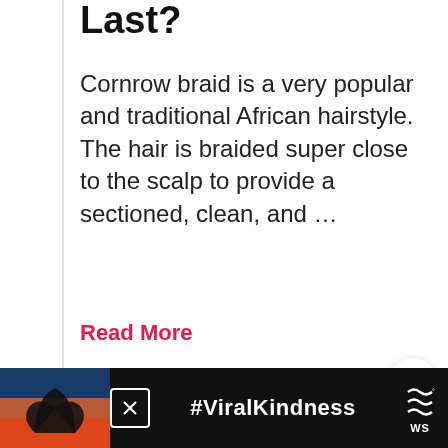Last?
Cornrow braid is a very popular and traditional African hairstyle. The hair is braided super close to the scalp to provide a sectioned, clean, and …
Read More
[Figure (photo): Circular cropped photo of a person with colorful braids and sunglasses under neon/UV purple and pink lighting, holding a glowing light wand]
[Figure (infographic): Advertisement banner showing hands making a heart shape at sunset with text '#ViralKindness' and a news network logo]